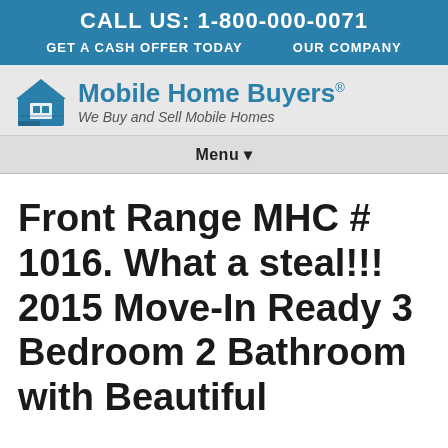CALL US: 1-800-000-0071
GET A CASH OFFER TODAY    OUR COMPANY
[Figure (logo): Mobile Home Buyers logo with house icon, brand name 'Mobile Home Buyers®' and tagline 'We Buy and Sell Mobile Homes']
Menu ▾
Front Range MHC # 1016. What a steal!!! 2015 Move-In Ready 3 Bedroom 2 Bathroom with Beautiful